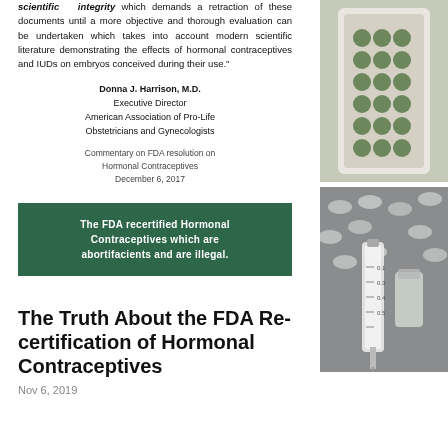scientific integrity which demands a retraction of these documents until a more objective and thorough evaluation can be undertaken which takes into account modern scientific literature demonstrating the effects of hormonal contraceptives and IUDs on embryos conceived during their use."
Donna J. Harrison, M.D.
Executive Director
American Association of Pro-Life Obstetricians and Gynecologists

Commentary on FDA resolution on Hormonal Contraceptives
December 6, 2017
[Figure (photo): Close-up photo of birth control pill blister pack with green pills]
[Figure (photo): Close-up photo of syringe and pills/capsules on reflective surface]
The FDA recertified Hormonal Contraceptives which are abortifacients and are illegal.
The Truth About the FDA Re-certification of Hormonal Contraceptives
Nov 6, 2019